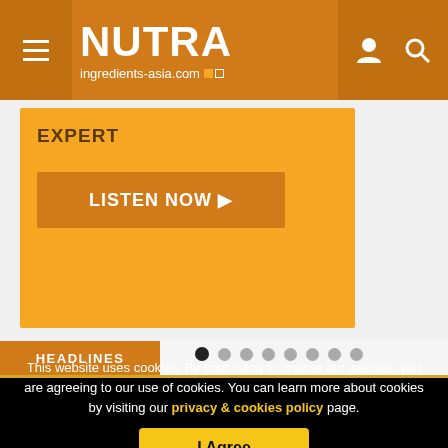NUTRA ingredients-asia.com
EXPERT
LISTEN NOW ▶
HEADLINES
This website uses cookies. By continuing to browse our website, you are agreeing to our use of cookies. You can learn more about cookies by visiting our privacy & cookies policy page.
I Agree